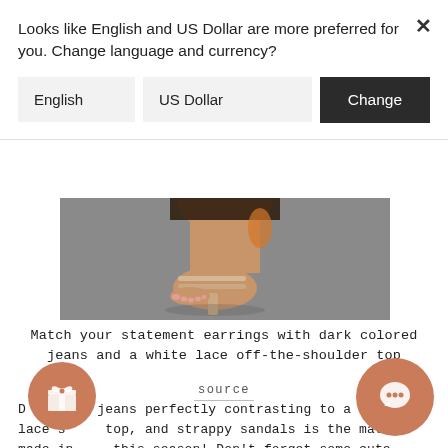Looks like English and US Dollar are more preferred for you. Change language and currency?
English   US Dollar   Change
[Figure (photo): Close-up photo of a woman's feet wearing strappy nude/beige high-heeled sandals on a grey pavement surface, with dark denim jeans visible at the top.]
Match your statement earrings with dark colored jeans and a white lace off-the-shoulder top
source
D[ark col]ored jeans perfectly contrasting to a white lace s[houlder] top, and strappy sandals is the match made in [heaven] this season! Don't forget some cute accessories like a patte[rned] clutch and statements earrings.